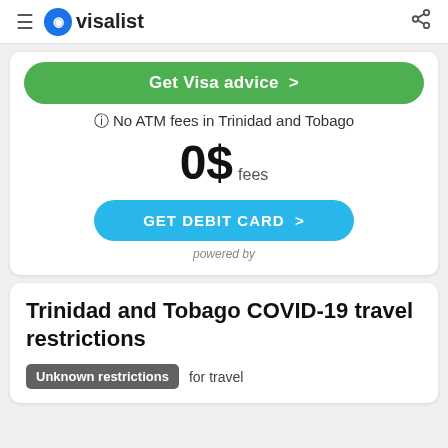≡ visalist
Get Visa advice >
🛈 No ATM fees in Trinidad and Tobago
0$ fees
GET DEBIT CARD >
powered by
Trinidad and Tobago COVID-19 travel restrictions
Unknown restrictions  for travel